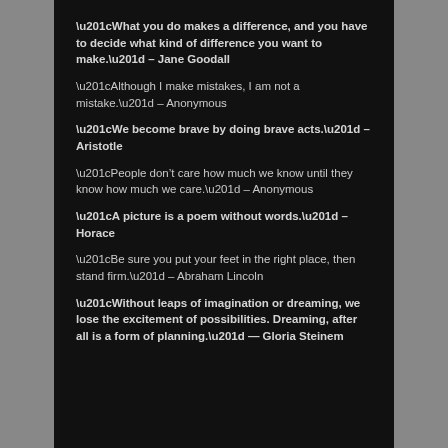“What you do makes a difference, and you have to decide what kind of difference you want to make.” – Jane Goodall
“Although I make mistakes, I am not a mistake.” – Anonymous
“We become brave by doing brave acts.” – Aristotle
“People don’t care how much we know until they know how much we care.” – Anonymous
“A picture is a poem without words.” – Horace
“Be sure you put your feet in the right place, then stand firm.” – Abraham Lincoln
“Without leaps of imagination or dreaming, we lose the excitement of possibilities. Dreaming, after all is a form of planning.” — Gloria Steinem